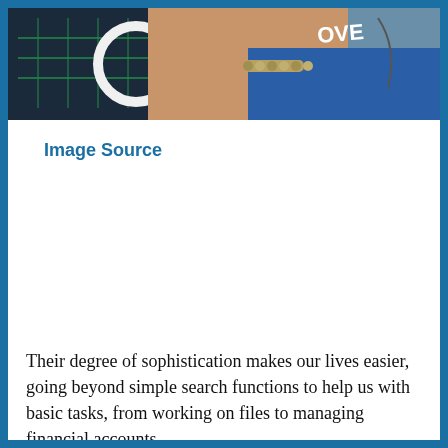[Figure (photo): Close-up photo of a person's wrist/hand with a white circular bracelet, a beaded bracelet, wearing a blue top with 'LOVE' text visible, with dark background elements]
Image Source
Their degree of sophistication makes our lives easier, going beyond simple search functions to help us with basic tasks, from working on files to managing financial accounts.